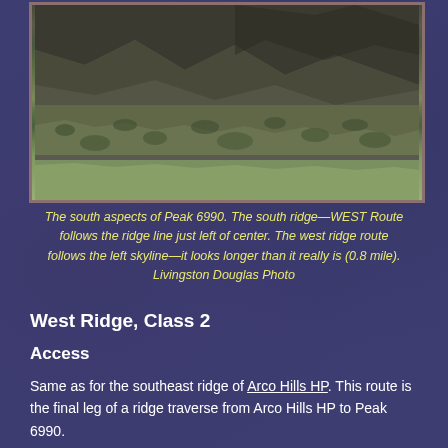[Figure (photo): Landscape photograph showing the south aspects of Peak 6990 with sagebrush scrubland in the foreground and mountain ridgelines in the background.]
The south aspects of Peak 6990. The south ridge—WEST Route follows the ridge line just left of center. The west ridge route follows the left skyline—it looks longer than it really is (0.8 mile). Livingston Douglas Photo
West Ridge, Class 2
Access
Same as for the southeast ridge of Arco Hills HP. This route is the final leg of a ridge traverse from Arco Hills HP to Peak 6990.